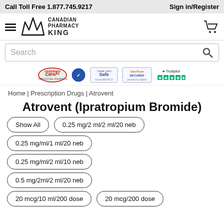Call Toll Free 1.877.745.9217   Sign in/Register
[Figure (logo): Canadian Pharmacy King logo with hamburger menu and cart icon]
[Figure (screenshot): Search bar with magnifying glass icon]
[Figure (infographic): Trust badges: CIPA, pharmacy verification, Credit Card Safe/SecurityMetrics, GeoTrust Secured, Trustpilot 5-star rating]
Home | Prescription Drugs | Atrovent
Atrovent (Ipratropium Bromide)
Show All
0.25 mg/2 ml/2 ml/20 neb
0.25 mg/ml/1 ml/20 neb
0.25 mg/ml/2 ml/10 neb
0.5 mg/2ml/2 ml/20 neb
20 mcg/10 ml/200 dose
20 mcg/200 dose